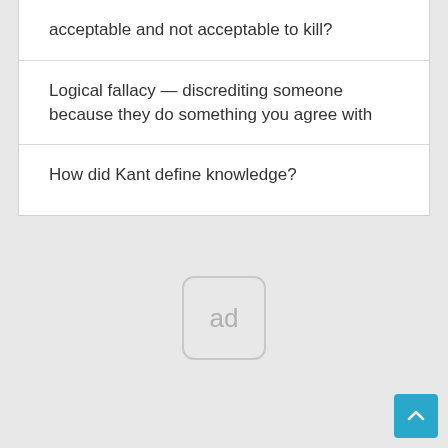acceptable and not acceptable to kill?
Logical fallacy — discrediting someone because they do something you agree with
How did Kant define knowledge?
[Figure (other): Ad placeholder box with text 'ad']
[Figure (other): Scroll-to-top button with upward chevron arrow, teal/blue background]